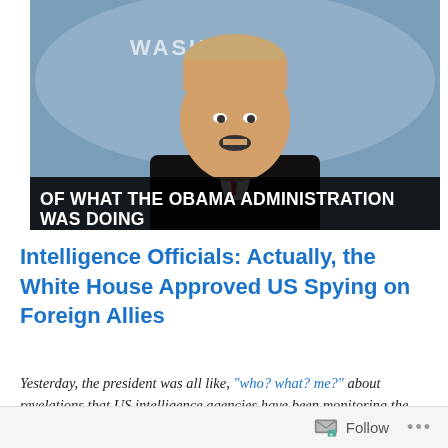[Figure (photo): Man in suit speaking at a podium with Washington DC backdrop, with caption bar overlay reading 'OF WHAT THE OBAMA ADMINISTRATION WAS DOING']
Intelligence Officials: Actually, the White House Approved US Spying on Foreign Allies
Yesterday, the president was all like, “who? what? me?” about revelations that US intelligence agencies have been monitoring the phone calls of various world leaders for years. He pretended that he and his inner circle were unaware of this practice. In doing so, he angered and
Follow ...